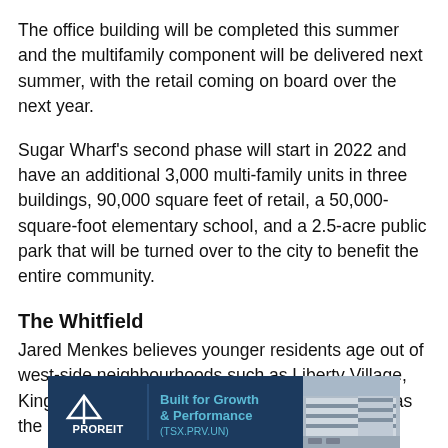The office building will be completed this summer and the multifamily component will be delivered next summer, with the retail coming on board over the next year.
Sugar Wharf's second phase will start in 2022 and have an additional 3,000 multi-family units in three buildings, 90,000 square feet of retail, a 50,000-square-foot elementary school, and a 2.5-acre public park that will be turned over to the city to benefit the entire community.
The Whitfield
Jared Menkes believes younger residents age out of west-side neighbourhoods such as Liberty Village, King Street West and Queen Street West, whereas the east
[Figure (other): PROREIT advertisement banner: 'Built for Growth & Performance (TSX.PRV.UN)' with logo and warehouse building photo]